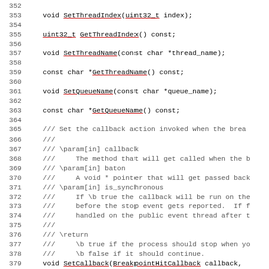Code listing lines 352–381, C++ API documentation with method signatures and doxygen comments
351  ... (truncated)
352
353    void SetThreadIndex(uint32_t index);
354
355    uint32_t GetThreadIndex() const;
356
357    void SetThreadName(const char *thread_name);
358
359    const char *GetThreadName() const;
360
361    void SetQueueName(const char *queue_name);
362
363    const char *GetQueueName() const;
364
365    /// Set the callback action invoked when the brea
366    ///
367    /// \param[in] callback
368    ///     The method that will get called when the b
369    /// \param[in] baton
370    ///     A void * pointer that will get passed back
371    /// \param[in] is_synchronous
372    ///     If \b true the callback will be run on the
373    ///     before the stop event gets reported.  If f
374    ///     handled on the public event thread after t
375    ///
376    /// \return
377    ///     \b true if the process should stop when yo
378    ///     \b false if it should continue.
379    void SetCallback(BreakpointHitCallback callback,
380                     bool is_synchronous = false);
381